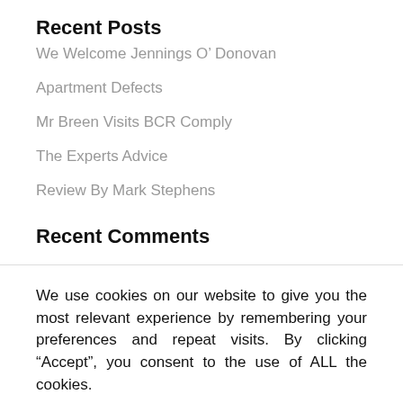Recent Posts
We Welcome Jennings O’ Donovan
Apartment Defects
Mr Breen Visits BCR Comply
The Experts Advice
Review By Mark Stephens
Recent Comments
We use cookies on our website to give you the most relevant experience by remembering your preferences and repeat visits. By clicking “Accept”, you consent to the use of ALL the cookies.
Cookie settings
ACCEPT